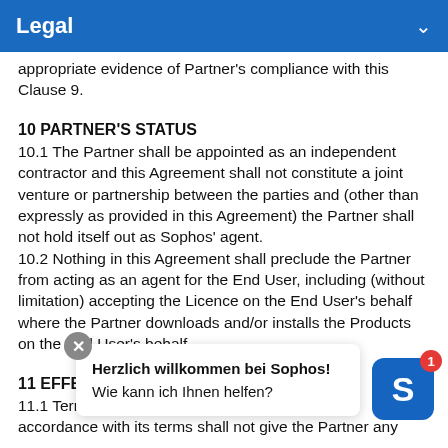Legal
appropriate evidence of Partner's compliance with this Clause 9.
10 PARTNER'S STATUS
10.1 The Partner shall be appointed as an independent contractor and this Agreement shall not constitute a joint venture or partnership between the parties and (other than expressly as provided in this Agreement) the Partner shall not hold itself out as Sophos' agent.
10.2 Nothing in this Agreement shall preclude the Partner from acting as an agent for the End User, including (without limitation) accepting the Licence on the End User's behalf where the Partner downloads and/or installs the Products on the End User's behalf.
11 EFFECT OF
11.1 Terminati... accordance with its terms shall not give the Partner any